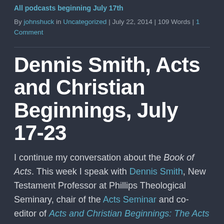All podcasts beginning July 17th
By johnshuck in Uncategorized | July 22, 2014 | 109 Words | 1 Comment
Dennis Smith, Acts and Christian Beginnings, July 17-23
I continue my conversation about the Book of Acts. This week I speak with Dennis Smith, New Testament Professor at Phillips Theological Seminary, chair of the Acts Seminar and co-editor of Acts and Christian Beginnings: The Acts Seminar Results. The Acts Seminar…